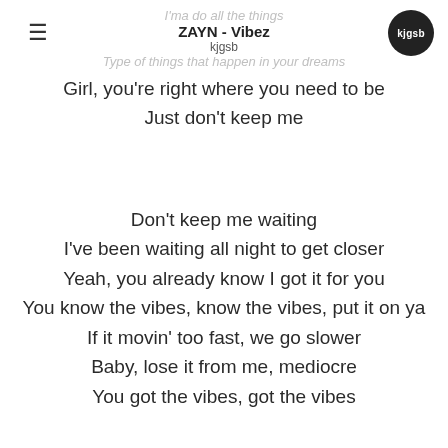ZAYN - Vibez
kjgsb
Girl, you're right where you need to be
Just don't keep me
Don't keep me waiting
I've been waiting all night to get closer
Yeah, you already know I got it for you
You know the vibes, know the vibes, put it on ya
If it movin' too fast, we go slower
Baby, lose it from me, mediocre
You got the vibes, got the vibes